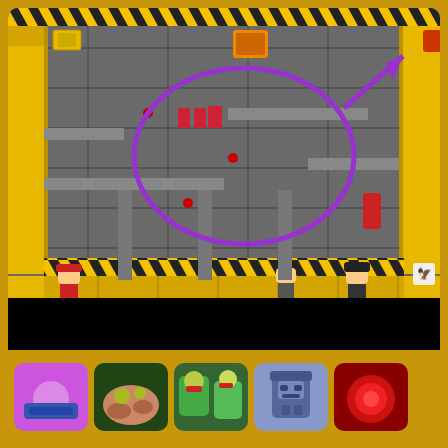[Figure (screenshot): Screenshot of a 2D platform game (TwoPlayerGames.org) showing a factory/industrial level with characters, hazard stripes, items, and a purple circle annotation with arrow pointing to items. UI bar shows STAGE 4, score 16/27, lives 2/3.]
[Figure (screenshot): Grid of game thumbnail icons: row 1 - purple space/car game, foot-squishing bugs game, zombie game, robot/cube game, red planet game; row 2 - zombie/brain game, shooter game, foot game, military shooter, zombie cartoon game]